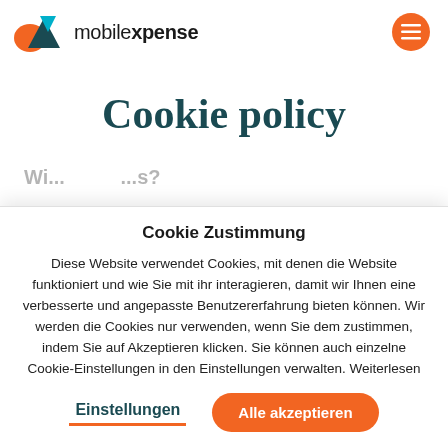mobilexpense
Cookie policy
Wi...          ...s?
Cookie Zustimmung
Diese Website verwendet Cookies, mit denen die Website funktioniert und wie Sie mit ihr interagieren, damit wir Ihnen eine verbesserte und angepasste Benutzererfahrung bieten können. Wir werden die Cookies nur verwenden, wenn Sie dem zustimmen, indem Sie auf Akzeptieren klicken. Sie können auch einzelne Cookie-Einstellungen in den Einstellungen verwalten. Weiterlesen
Einstellungen
Alle akzeptieren